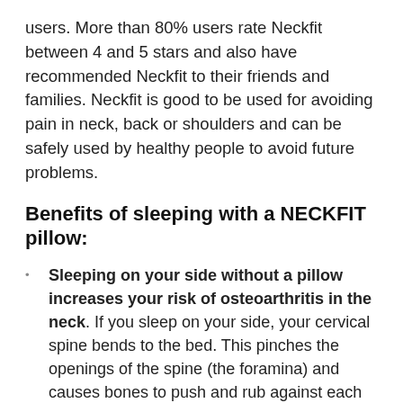users. More than 80% users rate Neckfit between 4 and 5 stars and also have recommended Neckfit to their friends and families. Neckfit is good to be used for avoiding pain in neck, back or shoulders and can be safely used by healthy people to avoid future problems.
Benefits of sleeping with a NECKFIT pillow:
Sleeping on your side without a pillow increases your risk of osteoarthritis in the neck. If you sleep on your side, your cervical spine bends to the bed. This pinches the openings of the spine (the foramina) and causes bones to push and rub against each other. That friction and pressure causes bone to erode and grow which can create the bone spurs. NECKFIT pillow raises the head and straightens the spine as per height and broadness of your shoulder.